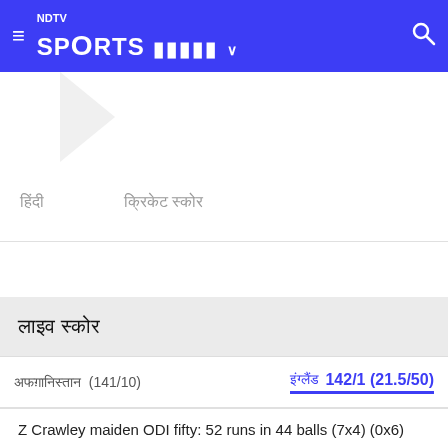NDTV Sports
[Figure (other): Decorative arrow/chevron graphic in white area]
हिंदी   क्रिकेट स्कोर
लाइव स्कोर
अफग़ानिस्तान  (141/10)    इंग्लैंड  142/1 (21.5/50)
Z Crawley maiden ODI fifty: 52 runs in 44 balls (7x4) (0x6)
2nd wkt Partnership: 100 off 86 balls between D Malan (51) and Z Crawley (44)
D Malan 2nd ODI fifty: 50 runs in 50 balls (7x4) (0x6)